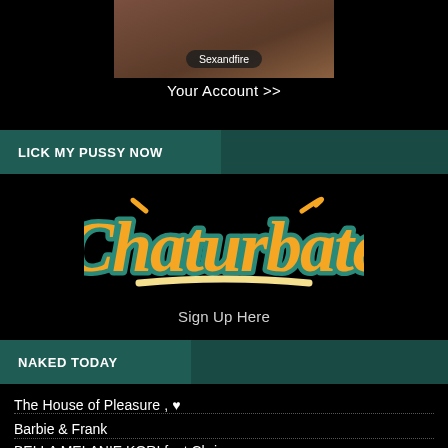[Figure (photo): Thumbnail image of a person with a dark rounded label overlay reading 'Sexandfire']
Your Account >>
LICK MY PUSSY NOW
[Figure (logo): Chaturbate logo in orange script with teal outline and underline]
Sign Up Here
NAKED TODAY
The House of Pleasure , ♥
Barbie & Frank
BELLA MELANIE KORI feat Chris